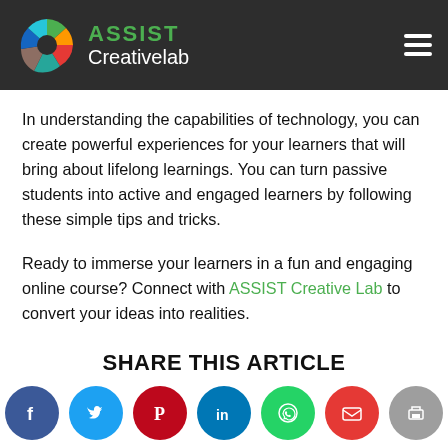[Figure (logo): ASSIST Creativelab logo with colorful circular icon and white text on dark header background]
In understanding the capabilities of technology, you can create powerful experiences for your learners that will bring about lifelong learnings. You can turn passive students into active and engaged learners by following these simple tips and tricks.
Ready to immerse your learners in a fun and engaging online course? Connect with ASSIST Creative Lab to convert your ideas into realities.
SHARE THIS ARTICLE
[Figure (infographic): Row of social media sharing icons: Facebook, Twitter, Pinterest, LinkedIn, WhatsApp, Email, Print]